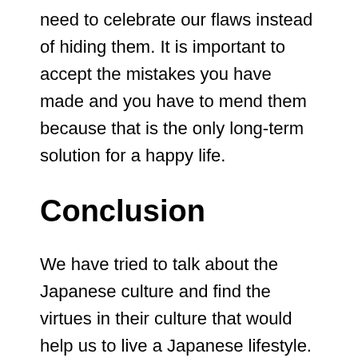need to celebrate our flaws instead of hiding them. It is important to accept the mistakes you have made and you have to mend them because that is the only long-term solution for a happy life.
Conclusion
We have tried to talk about the Japanese culture and find the virtues in their culture that would help us to live a Japanese lifestyle. If you follow all of these traditions you would be able to get closer to their way of living life. Although it is a matter of personal preference, there are a number of recognized benefits from